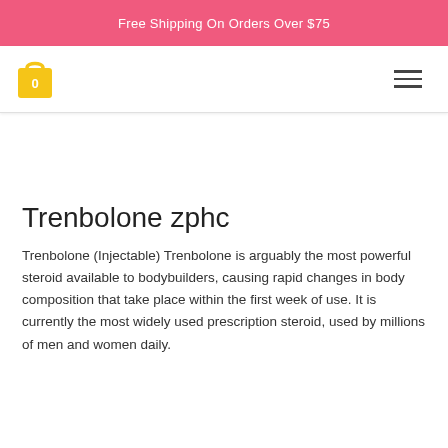Free Shipping On Orders Over $75
Trenbolone zphc
Trenbolone (Injectable) Trenbolone is arguably the most powerful steroid available to bodybuilders, causing rapid changes in body composition that take place within the first week of use. It is currently the most widely used prescription steroid, used by millions of men and women daily.